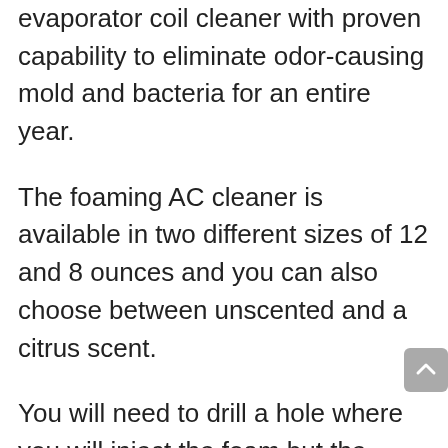mold specialists endorse it as the best AC evaporator coil cleaner with proven capability to eliminate odor-causing mold and bacteria for an entire year.
The foaming AC cleaner is available in two different sizes of 12 and 8 ounces and you can also choose between unscented and a citrus scent.
You will need to drill a hole where you will inject the foam but the instructions feature colored illustrations that are clear to understand. We wish they could be as clear on what this product is based on.